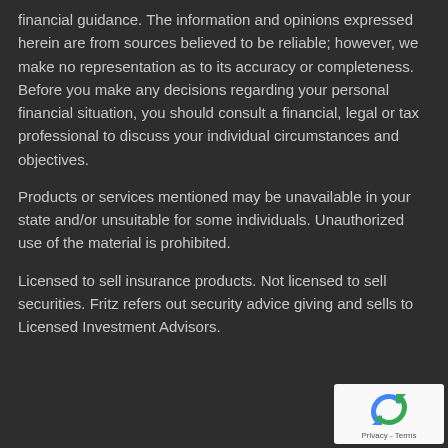financial guidance. The information and opinions expressed herein are from sources believed to be reliable; however, we make no representation as to its accuracy or completeness. Before you make any decisions regarding your personal financial situation, you should consult a financial, legal or tax professional to discuss your individual circumstances and objectives.
Products or services mentioned may be unavailable in your state and/or unsuitable for some individuals. Unauthorized use of the material is prohibited.
Licensed to sell insurance products. Not licensed to sell securities. Fritz refers out security advice giving and sells to Licensed Investment Advisors.
[Figure (logo): reCAPTCHA badge with logo and Privacy - Terms text]